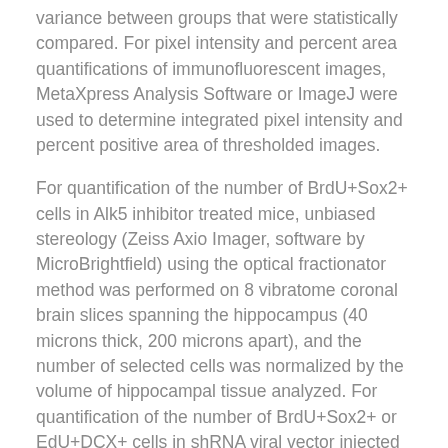variance between groups that were statistically compared. For pixel intensity and percent area quantifications of immunofluorescent images, MetaXpress Analysis Software or ImageJ were used to determine integrated pixel intensity and percent positive area of thresholded images.
For quantification of the number of BrdU+Sox2+ cells in Alk5 inhibitor treated mice, unbiased stereology (Zeiss Axio Imager, software by MicroBrightfield) using the optical fractionator method was performed on 8 vibratome coronal brain slices spanning the hippocampus (40 microns thick, 200 microns apart), and the number of selected cells was normalized by the volume of hippocampal tissue analyzed. For quantification of the number of BrdU+Sox2+ or EdU+DCX+ cells in shRNA viral vector injected brains, confocal stacks of 8 vibratome coronal GFP+ brain slices spanning the hippocampus (40 microns thick, 200 microns apart) were acquired on a Prairie confocal microscope and cells were counted. Cell numbers were normalized to the volume of the DG granule cell layer measured by ImageJ and as previously described